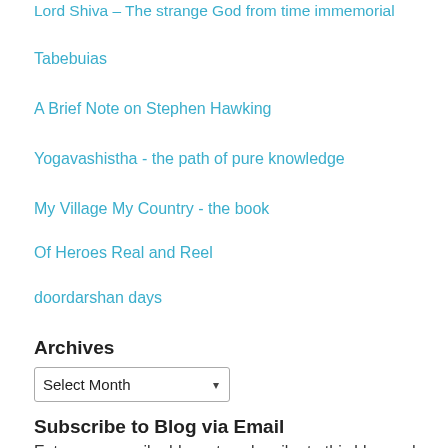Lord Shiva – The strange God from time immemorial
Tabebuias
A Brief Note on Stephen Hawking
Yogavashistha - the path of pure knowledge
My Village My Country - the book
Of Heroes Real and Reel
doordarshan days
Archives
Select Month
Subscribe to Blog via Email
Enter your email address to subscribe to this blog and